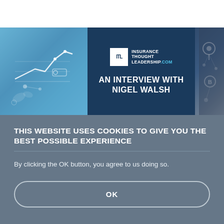[Figure (illustration): Banner image for Insurance Thought Leadership interview with Nigel Walsh. Left third shows a blue digital/data visualization background with a line chart icon. Center shows dark navy panel with ITL logo and text 'AN INTERVIEW WITH NIGEL WALSH'. Right third shows a person in a dark suit with digital network overlay.]
THIS WEBSITE USES COOKIES TO GIVE YOU THE BEST POSSIBLE EXPERIENCE
By clicking the OK button, you agree to us doing so.
OK